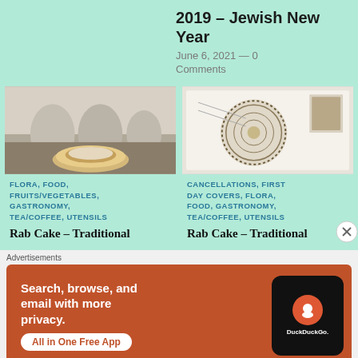2019 – Jewish New Year
June 6, 2021 — 0 Comments
[Figure (photo): Photo of a pastry/cake with architectural background (street scene)]
FLORA, FOOD, FRUITS/VEGETABLES, GASTRONOMY, TEA/COFFEE, UTENSILS
Rab Cake – Traditional
[Figure (photo): Illustration/stamp of a spiral decorative cake with a postage stamp visible]
CANCELLATIONS, FIRST DAY COVERS, FLORA, FOOD, GASTRONOMY, TEA/COFFEE, UTENSILS
Rab Cake – Traditional
Advertisements
[Figure (illustration): DuckDuckGo advertisement banner: Search, browse, and email with more privacy. All in One Free App. Shows a phone with DuckDuckGo logo.]